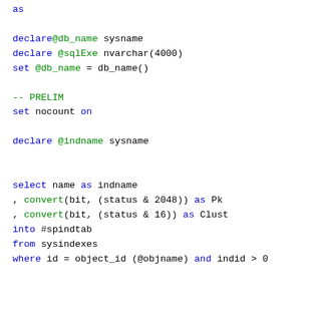as

declare@db_name sysname
declare @sqlExe nvarchar(4000)
set @db_name = db_name()

-- PRELIM
set nocount on

declare @indname sysname


select name as indname
, convert(bit, (status & 2048)) as Pk
, convert(bit, (status & 16)) as Clust
into #spindtab
from sysindexes
where id = object_id (@objname) and indid > 0